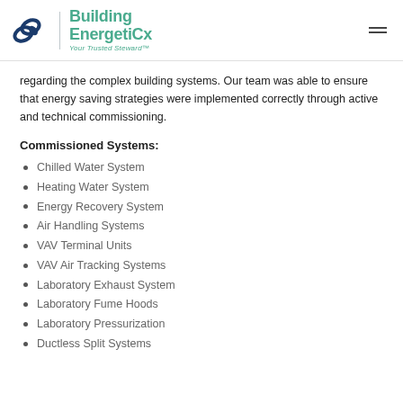[Figure (logo): Building EnergetiCx logo with tagline 'Your Trusted Steward™']
regarding the complex building systems. Our team was able to ensure that energy saving strategies were implemented correctly through active and technical commissioning.
Commissioned Systems:
Chilled Water System
Heating Water System
Energy Recovery System
Air Handling Systems
VAV Terminal Units
VAV Air Tracking Systems
Laboratory Exhaust System
Laboratory Fume Hoods
Laboratory Pressurization
Ductless Split Systems